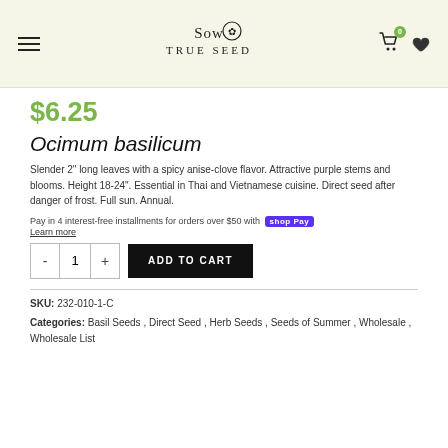Sow True Seed — navigation header with logo, cart (0), and wishlist icons
$6.25
Ocimum basilicum
Slender 2" long leaves with a spicy anise-clove flavor. Attractive purple stems and blooms. Height 18-24". Essential in Thai and Vietnamese cuisine. Direct seed after danger of frost. Full sun. Annual.
Pay in 4 interest-free installments for orders over $50 with shop Pay
Learn more
SKU: 232-010-1-C
Categories: Basil Seeds , Direct Seed , Herb Seeds , Seeds of Summer , Wholesale , Wholesale List